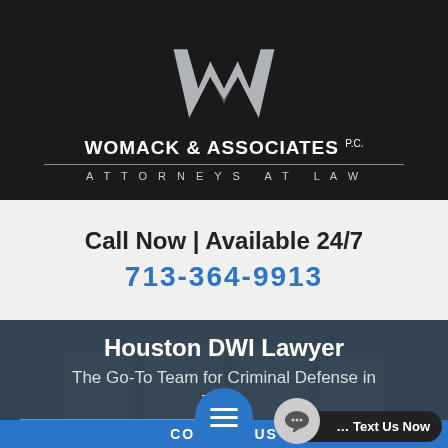[Figure (logo): Womack & Associates P.C. law firm logo: large stylized W in light gray on dark background, firm name and 'Attorneys at Law' below]
Call Now | Available 24/7
713-364-9913
[Figure (photo): Hero section with dark overlay showing silhouettes of suited men in background]
Houston DWI Lawyer
The Go-To Team for Criminal Defense in Texas